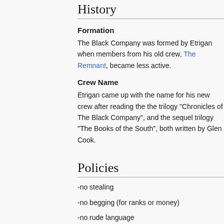History
Formation
The Black Company was formed by Etrigan when members from his old crew, The Remnant, became less active.
Crew Name
Etrigan came up with the name for his new crew after reading the the trilogy "Chronicles of The Black Company", and the sequel trilogy "The Books of the South", both written by Glen Cook.
Policies
-no stealing
-no begging (for ranks or money)
-no rude language
-obey your officer on the pillage
-do not leave in battle